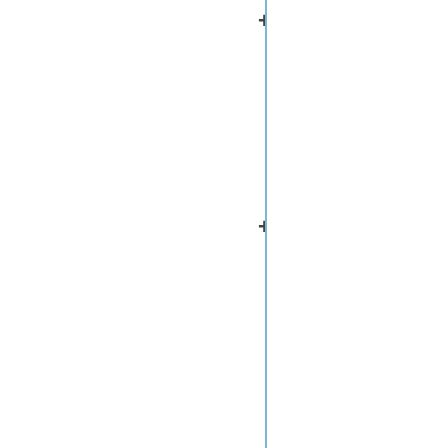3. Shirly Tentile Magwaza, Lembe Samukelo Magwaza, Alfred Oduor Odindo, Asanda Mditshwa, Hydroponic technology as decentralised system for domestic wastewater treatment and vegetable production in urban agriculture: A review, Science of The Total Environment, Volume 698, 2020, 134154, ISSN 0048-9697, https://doi.org/10.1016/j.scitotenv.2019.134154. (https://www.sciencedirect.com/science/article/pii/S00